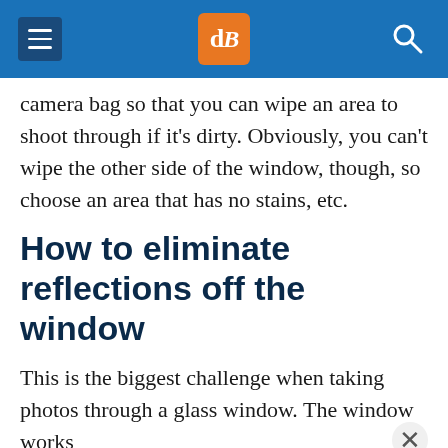dPS (logo)
camera bag so that you can wipe an area to shoot through if it’s dirty. Obviously, you can’t wipe the other side of the window, though, so choose an area that has no stains, etc.
How to eliminate reflections off the window
This is the biggest challenge when taking photos through a glass window. The window works